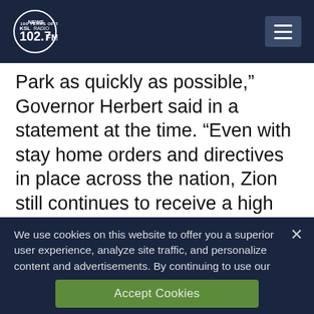KSL NewsRadio 102.7FM
Park as quickly as possible,” Governor Herbert said in a statement at the time. “Even with stay home orders and directives in place across the nation, Zion still continues to receive a high number of visitors each day, which greatly increases the risk of infection to communities near the park. We look forward to the day that
We use cookies on this website to offer you a superior user experience, analyze site traffic, and personalize content and advertisements. By continuing to use our site, you consent to our use of cookies. Please visit our Privacy Policy for more information.
Accept Cookies